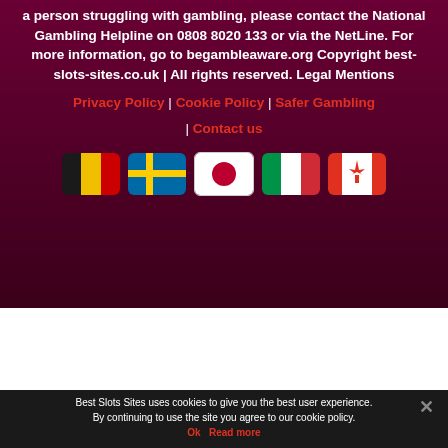a person struggling with gambling, please contact the National Gambling Helpline on 0808 8020 133 or via the NetLine. For more information, go to begambleaware.org Copyright best-slots-sites.co.uk | All rights reserved. Legal Mentions
Privacy Policy | Cookie Policy | Safer Gambling | Contact us
[Figure (illustration): Row of 5 country flag icons: Belgium, Sweden, Japan, Italy, Canada]
Best Slots Sites uses cookies to give you the best user experience. By continuing to use the site you agree to our cookie policy.
Ok Read more